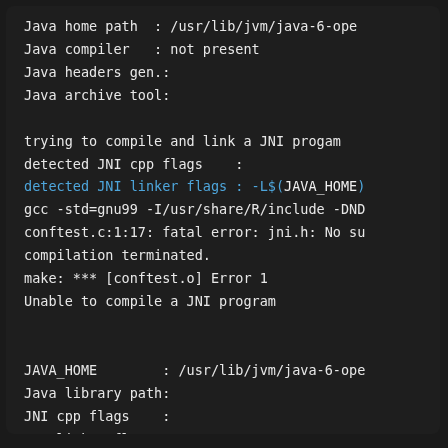[Figure (screenshot): Terminal/console output showing Java configuration detection and JNI compilation failure, with lines in white and blue monospace text on a dark background.]